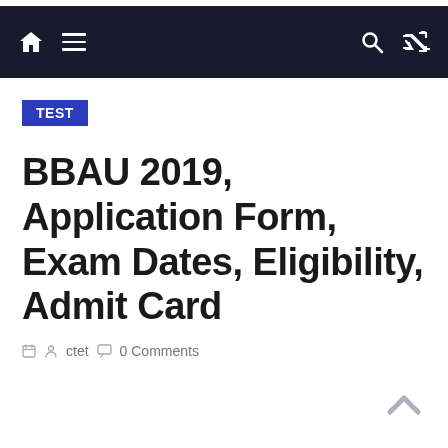Navigation bar with home, menu, search, and shuffle icons
TEST
BBAU 2019, Application Form, Exam Dates, Eligibility, Admit Card
ctet  0 Comments